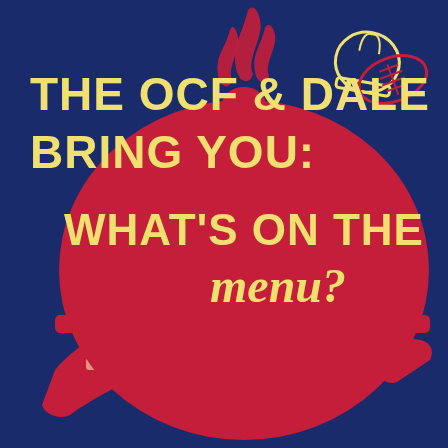[Figure (illustration): Promotional graphic on a dark navy blue background. Top left shows bold yellow/gold text 'THE OCF & DALE BRING YOU:'. Center-top has a red flame/steam icon. Top right has a chef's hat icon and a red football (outlined in red/gold). The main graphic is a large red cloche dome on a red hand/arm serving tray. On the cloche dome, yellow text reads 'WHAT'S ON THE' and italic script text reads 'menu?'.]